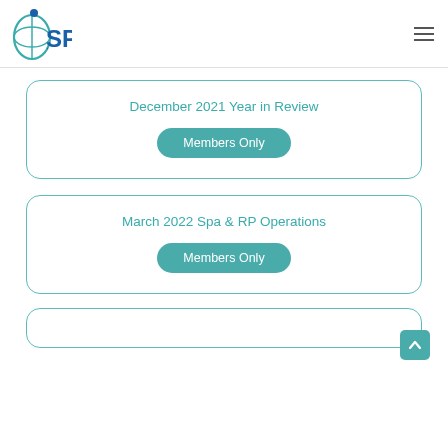[Figure (logo): iSPA logo — blue circular globe with stylized 'i' and teal 'SPA.' wordmark]
December 2021 Year in Review
Members Only
March 2022 Spa & RP Operations
Members Only